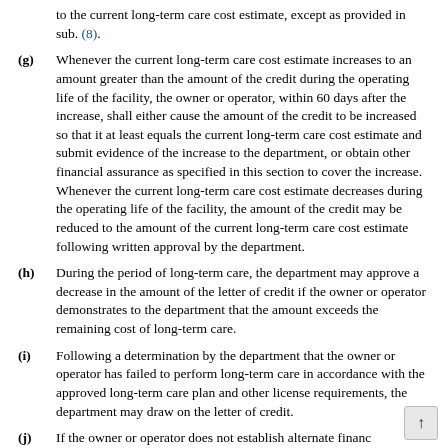to the current long-term care cost estimate, except as provided in sub. (8).
(g) Whenever the current long-term care cost estimate increases to an amount greater than the amount of the credit during the operating life of the facility, the owner or operator, within 60 days after the increase, shall either cause the amount of the credit to be increased so that it at least equals the current long-term care cost estimate and submit evidence of the increase to the department, or obtain other financial assurance as specified in this section to cover the increase. Whenever the current long-term care cost estimate decreases during the operating life of the facility, the amount of the credit may be reduced to the amount of the current long-term care cost estimate following written approval by the department.
(h) During the period of long-term care, the department may approve a decrease in the amount of the letter of credit if the owner or operator demonstrates to the department that the amount exceeds the remaining cost of long-term care.
(i) Following a determination by the department that the owner or operator has failed to perform long-term care in accordance with the approved long-term care plan and other license requirements, the department may draw on the letter of credit.
(j) If the owner or operator does not establish alternate financ…